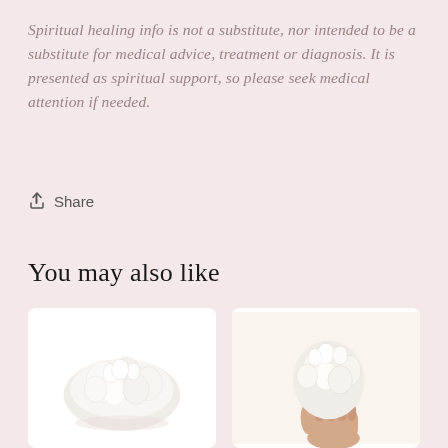Spiritual healing info is not a substitute, nor intended to be a substitute for medical advice, treatment or diagnosis. It is presented as spiritual support, so please seek medical attention if needed.
↑ Share
You may also like
[Figure (photo): White crystal cluster mineral specimen on white background]
[Figure (photo): Hand holding a white crystal cluster mineral specimen]